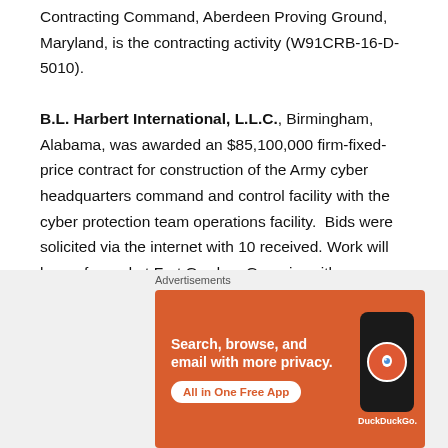Contracting Command, Aberdeen Proving Ground, Maryland, is the contracting activity (W91CRB-16-D-5010). B.L. Harbert International, L.L.C., Birmingham, Alabama, was awarded an $85,100,000 firm-fixed-price contract for construction of the Army cyber headquarters command and control facility with the cyber protection team operations facility. Bids were solicited via the internet with 10 received. Work will be performed at Fort Gordon, Georgia, with an estimated completion date of May 21, 2018. Fiscal 2016 military construction funds in the
[Figure (other): DuckDuckGo advertisement banner: orange background with text 'Search, browse, and email with more privacy. All in One Free App' and an image of a smartphone with DuckDuckGo logo]